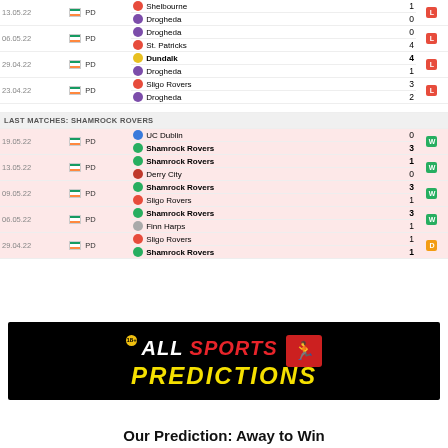| Date | League | Team | Score | Result |
| --- | --- | --- | --- | --- |
| 13.05.22 | IRL PD | Shelbourne | 1 |  |
|  |  | Drogheda | 0 | L |
| 06.05.22 | IRL PD | Drogheda | 0 |  |
|  |  | St. Patricks | 4 | L |
| 29.04.22 | IRL PD | Dundalk | 4 |  |
|  |  | Drogheda | 1 | L |
| 23.04.22 | IRL PD | Sligo Rovers | 3 |  |
|  |  | Drogheda | 2 | L |
| LAST MATCHES: SHAMROCK ROVERS |  |  |  |  |
| 19.05.22 | IRL PD | UC Dublin | 0 |  |
|  |  | Shamrock Rovers | 3 | W |
| 13.05.22 | IRL PD | Shamrock Rovers | 1 |  |
|  |  | Derry City | 0 | W |
| 09.05.22 | IRL PD | Shamrock Rovers | 3 |  |
|  |  | Sligo Rovers | 1 | W |
| 06.05.22 | IRL PD | Shamrock Rovers | 3 |  |
|  |  | Finn Harps | 1 | W |
| 29.04.22 | IRL PD | Sligo Rovers | 1 |  |
|  |  | Shamrock Rovers | 1 | D |
[Figure (logo): All Sports Predictions logo with 18+ badge on black background]
Our Prediction: Away to Win